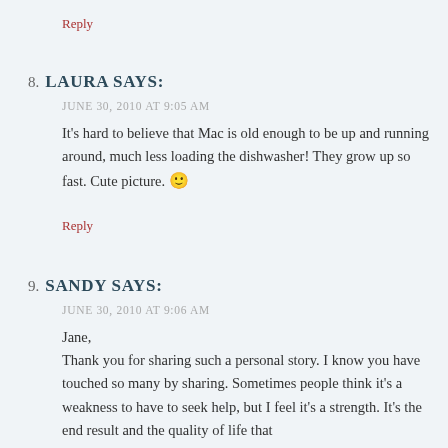Reply
8. LAURA SAYS:
JUNE 30, 2010 AT 9:05 AM
It’s hard to believe that Mac is old enough to be up and running around, much less loading the dishwasher! They grow up so fast. Cute picture. 🙂
Reply
9. SANDY SAYS:
JUNE 30, 2010 AT 9:06 AM
Jane,
Thank you for sharing such a personal story. I know you have touched so many by sharing. Sometimes people think it’s a weakness to have to seek help, but I feel it’s a strength. It’s the end result and the quality of life that